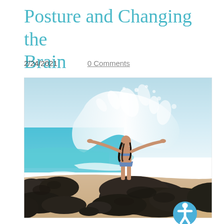Posture and Changing the Brain
2/24/2021    0 Comments
[Figure (photo): A woman in a bikini standing on black lava rocks at a beach with arms outstretched, with a large wave splashing behind her. Blue sky and turquoise ocean water visible in background.]